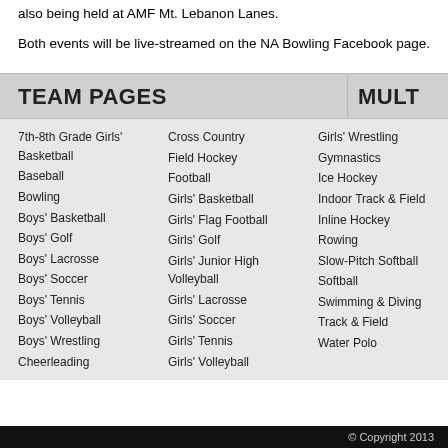also being held at AMF Mt. Lebanon Lanes.
Both events will be live-streamed on the NA Bowling Facebook page.
TEAM PAGES
7th-8th Grade Girls' Basketball
Baseball
Bowling
Boys' Basketball
Boys' Golf
Boys' Lacrosse
Boys' Soccer
Boys' Tennis
Boys' Volleyball
Boys' Wrestling
Cheerleading
Cross Country
Field Hockey
Football
Girls' Basketball
Girls' Flag Football
Girls' Golf
Girls' Junior High Volleyball
Girls' Lacrosse
Girls' Soccer
Girls' Tennis
Girls' Volleyball
Girls' Wrestling
Gymnastics
Ice Hockey
Indoor Track & Field
Inline Hockey
Rowing
Slow-Pitch Softball
Softball
Swimming & Diving
Track & Field
Water Polo
MULT
Broadc
NAAthle
Videos
Wrighta Game
© Copyright 2013